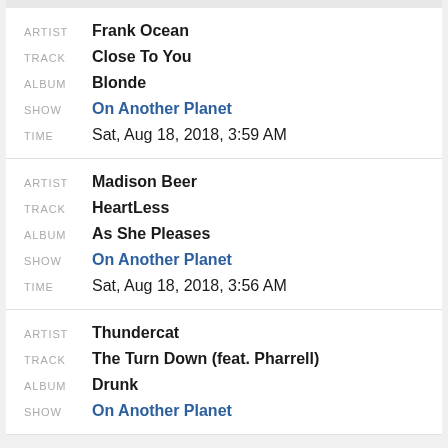ARTIST: Frank Ocean | TRACK: Close To You | ALBUM: Blonde | SHOW: On Another Planet | TIME: Sat, Aug 18, 2018, 3:59 AM
ARTIST: Madison Beer | TRACK: HeartLess | ALBUM: As She Pleases | SHOW: On Another Planet | TIME: Sat, Aug 18, 2018, 3:56 AM
ARTIST: Thundercat | TRACK: The Turn Down (feat. Pharrell) | ALBUM: Drunk | SHOW: On Another Planet